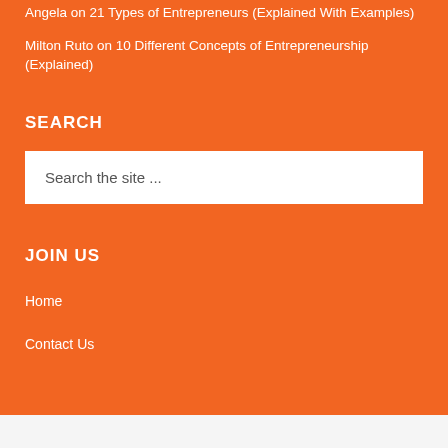Angela on 21 Types of Entrepreneurs (Explained With Examples)
Milton Ruto on 10 Different Concepts of Entrepreneurship (Explained)
SEARCH
Search the site ...
JOIN US
Home
Contact Us